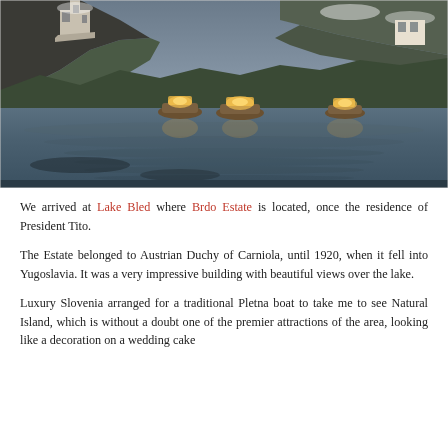[Figure (photo): Lake Bled at dusk with three traditional Pletna boats lit up on the calm water, a castle and forested snowy hills visible in the background.]
We arrived at Lake Bled where Brdo Estate is located, once the residence of President Tito.
The Estate belonged to Austrian Duchy of Carniola, until 1920, when it fell into Yugoslavia. It was a very impressive building with beautiful views over the lake.
Luxury Slovenia arranged for a traditional Pletna boat to take me to see Natural Island, which is without a doubt one of the premier attractions of the area, looking like a decoration on a wedding cake